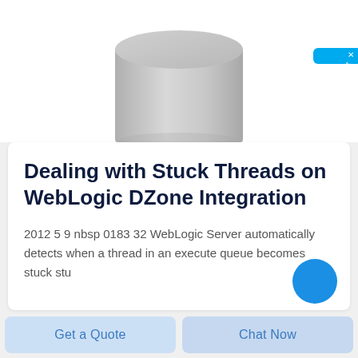[Figure (illustration): Partial top view of a grey cylindrical object (database or storage icon) shown cropped at the top of the page against a white background.]
Dealing with Stuck Threads on WebLogic DZone Integration
2012 5 9 nbsp 0183 32 WebLogic Server automatically detects when a thread in an execute queue becomes stuck stu...
Get a Quote
Chat Now